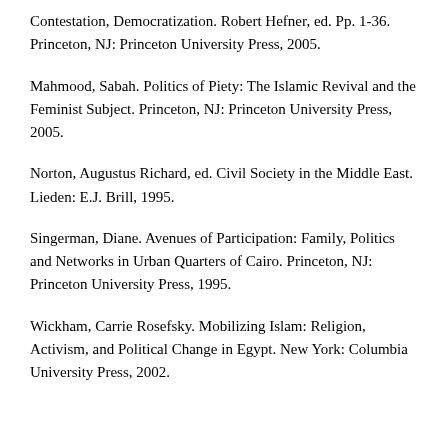Contestation, Democratization. Robert Hefner, ed. Pp. 1-36. Princeton, NJ: Princeton University Press, 2005.
Mahmood, Sabah. Politics of Piety: The Islamic Revival and the Feminist Subject. Princeton, NJ: Princeton University Press, 2005.
Norton, Augustus Richard, ed. Civil Society in the Middle East. Lieden: E.J. Brill, 1995.
Singerman, Diane. Avenues of Participation: Family, Politics and Networks in Urban Quarters of Cairo. Princeton, NJ: Princeton University Press, 1995.
Wickham, Carrie Rosefsky. Mobilizing Islam: Religion, Activism, and Political Change in Egypt. New York: Columbia University Press, 2002.